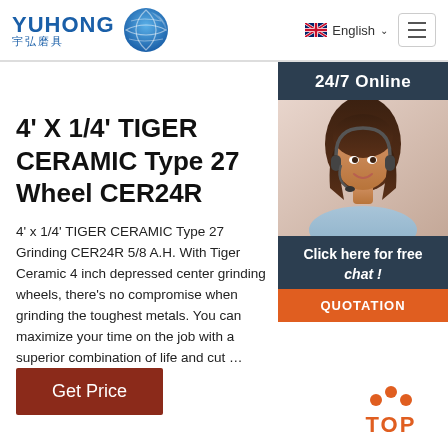[Figure (logo): YUHONG 宇弘磨具 logo with blue globe/wave icon]
4' X 1/4' TIGER CERAMIC Type 27 Wheel CER24R
4' x 1/4' TIGER CERAMIC Type 27 Grinding CER24R 5/8 A.H. With Tiger Ceramic 4 inch depressed center grinding wheels, there's no compromise when grinding the toughest metals. You can maximize your time on the job with a superior combination of life and cut …
[Figure (photo): Customer service representative woman with headset, with 24/7 Online text, Click here for free chat! text, and QUOTATION button]